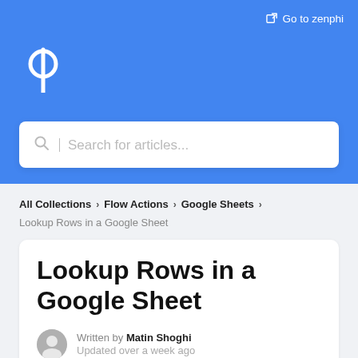Go to zenphi
[Figure (logo): Zenphi phi symbol logo in white on blue background]
Search for articles...
All Collections > Flow Actions > Google Sheets
Lookup Rows in a Google Sheet
Lookup Rows in a Google Sheet
Written by Matin Shoghi
Updated over a week ago